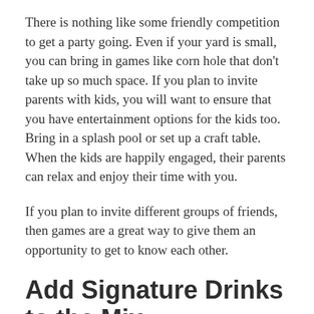There is nothing like some friendly competition to get a party going. Even if your yard is small, you can bring in games like corn hole that don't take up so much space. If you plan to invite parents with kids, you will want to ensure that you have entertainment options for the kids too. Bring in a splash pool or set up a craft table. When the kids are happily engaged, their parents can relax and enjoy their time with you.
If you plan to invite different groups of friends, then games are a great way to give them an opportunity to get to know each other.
Add Signature Drinks to the Mix
Give people a chance to indulge their creativity and have fun by setting up a make your own drinks bar.